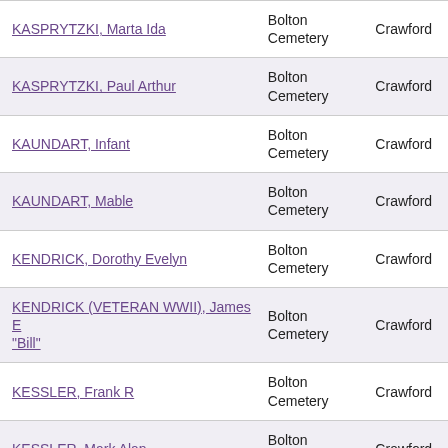| Name | Cemetery | County |
| --- | --- | --- |
| KASPRYTZKI, Marta Ida | Bolton Cemetery | Crawford |
| KASPRYTZKI, Paul Arthur | Bolton Cemetery | Crawford |
| KAUNDART, Infant | Bolton Cemetery | Crawford |
| KAUNDART, Mable | Bolton Cemetery | Crawford |
| KENDRICK, Dorothy Evelyn | Bolton Cemetery | Crawford |
| KENDRICK (VETERAN WWII), James E "Bill" | Bolton Cemetery | Crawford |
| KESSLER, Frank R | Bolton Cemetery | Crawford |
| KESSLER, Mark Alan | Bolton Cemetery | Crawford |
| KESSLER, Wanda Louise | Bolton Cemetery | Crawford |